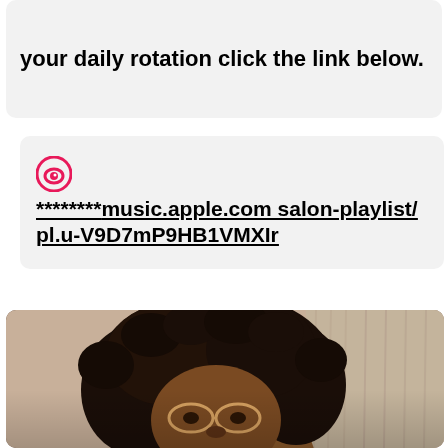your daily rotation click the link below.
******** music.apple.com salon-playlist/pl.u-V9D7mP9HB1VMXIr
[Figure (photo): Close-up photo of a person with natural curly hair, wearing glasses, with a warm-toned background with curtain-like texture visible on the right side.]